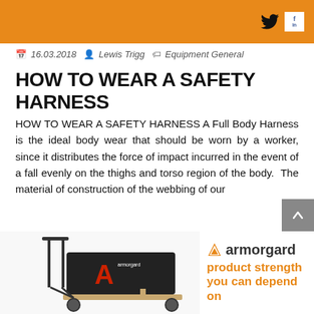Twitter and Facebook icons on orange header bar
16.03.2018  Lewis Trigg  Equipment General
HOW TO WEAR A SAFETY HARNESS
HOW TO WEAR A SAFETY HARNESS A Full Body Harness is the ideal body wear that should be worn by a worker, since it distributes the force of impact incurred in the event of a fall evenly on the thighs and torso region of the body.  The material of construction of the webbing of our
READ MORE »
[Figure (photo): Armorgard product image showing a wheeled cart/trolley with a large container, featuring a red A logo, next to Armorgard branding and tagline 'product strength you can depend on']